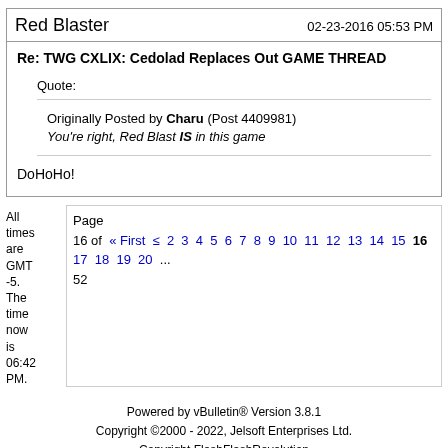Red Blaster   02-23-2016 05:53 PM
Re: TWG CXLIX: Cedolad Replaces Out GAME THREAD
Quote:
Originally Posted by Charu (Post 4409981)
You're right, Red Blast IS in this game
DoHoHo!
All times are GMT -5. The time now is 06:42 PM.
Page 16 of « First ≤ 2 3 4 5 6 7 8 9 10 11 12 13 14 15 16 17 18 19 20 ... 52
Powered by vBulletin® Version 3.8.1
Copyright ©2000 - 2022, Jelsoft Enterprises Ltd.
Copyright FlashFlashRevolution